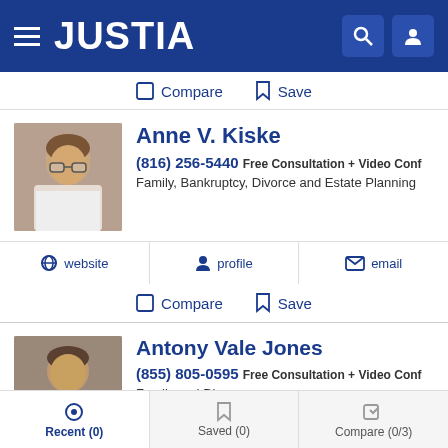JUSTIA
Compare  Save
Anne V. Kiske
(816) 256-5440 Free Consultation + Video Conf
Family, Bankruptcy, Divorce and Estate Planning
website  profile  email
Compare  Save
Antony Vale Jones
(855) 805-0595 Free Consultation + Video Conf
Family and Divorce
website  profile  email
Recent (0)  Saved (0)  Compare (0/3)